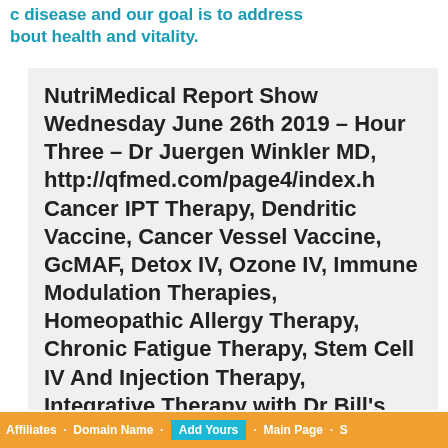c disease and our goal is to address bout health and vitality.
NutriMedical Report Show Wednesday June 26th 2019 – Hour Three – Dr Juergen Winkler MD, http://qfmed.com/page4/index.h Cancer IPT Therapy, Dendritic Vaccine, Cancer Vessel Vaccine, GcMAF, Detox IV, Ozone IV, Immune Modulation Therapies, Homeopathic Allergy Therapy, Chronic Fatigue Therapy, Stem Cell IV And Injection Therapy, Integrative Therapy with Dr Bill's Protocols NutriMeds and Technologies, Referral for Consults with Dr Bill re Functional Testing and
Affiliates · Domain Name · Add Yours · Main Page · S...